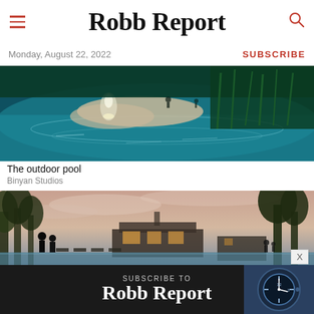Robb Report
Monday, August 22, 2022
SUBSCRIBE
[Figure (photo): Aerial view of an illuminated outdoor pool at night with sand, water feature, and surrounding vegetation rendered in blue and teal tones.]
The outdoor pool
Binyan Studios
[Figure (photo): Dusk rendering of a luxury resort pool area with a couple standing at the water's edge, trees, a building with warm interior lighting, lounge chairs, and other guests visible.]
[Figure (screenshot): Advertisement banner: SUBSCRIBE TO Robb Report with a watch image on the right and a red X close button.]